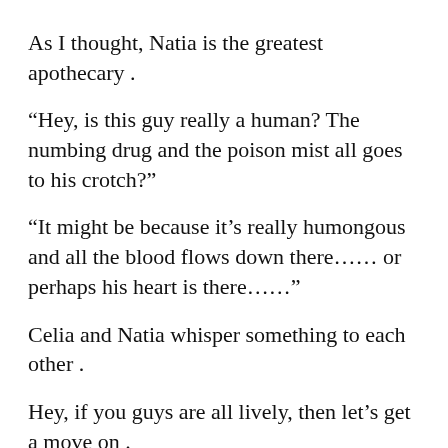As I thought, Natia is the greatest apothecary .
“Hey, is this guy really a human? The numbing drug and the poison mist all goes to his crotch?”
“It might be because it’s really humongous and all the blood flows down there…… or perhaps his heart is there……”
Celia and Natia whisper something to each other .
Hey, if you guys are all lively, then let’s get a move on .
Afterwards, we continued to encounter and overcome various traps as we progressed further in the ruins .
For the trap where sections of the floor fall piece by piece,